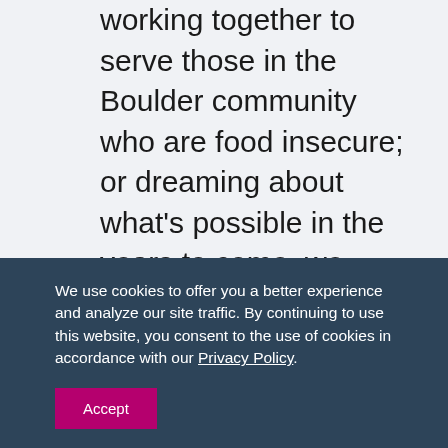working together to serve those in the Boulder community who are food insecure; or dreaming about what's possible in the years to come, we prioritized being Human First. The variety of settings and experiences allowed us to see each other in new and insightful ways. As I headed back across the country to my remote office, I knew we had strengthened our foundation in a catalyzing way, paving our path to the
We use cookies to offer you a better experience and analyze our site traffic. By continuing to use this website, you consent to the use of cookies in accordance with our Privacy Policy.
Accept